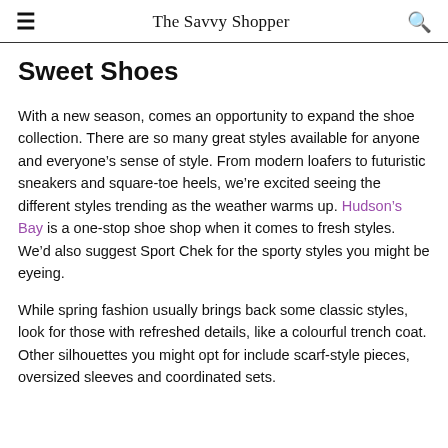The Savvy Shopper
Sweet Shoes
With a new season, comes an opportunity to expand the shoe collection. There are so many great styles available for anyone and everyone’s sense of style. From modern loafers to futuristic sneakers and square-toe heels, we’re excited seeing the different styles trending as the weather warms up. Hudson’s Bay is a one-stop shoe shop when it comes to fresh styles. We’d also suggest Sport Chek for the sporty styles you might be eyeing.
While spring fashion usually brings back some classic styles, look for those with refreshed details, like a colourful trench coat. Other silhouettes you might opt for include scarf-style pieces, oversized sleeves and coordinated sets.